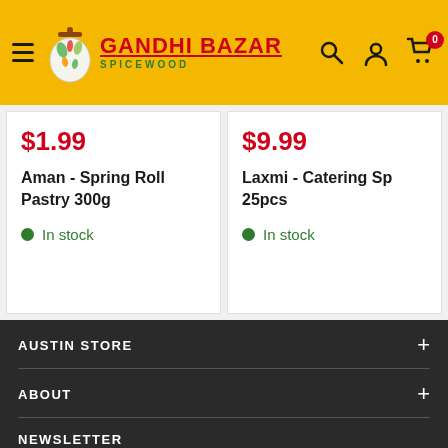[Figure (logo): Gandhi Bazar Spicewood logo with shopping bag icon on yellow header background with menu icon and cart/user/search icons]
$1.99
Aman - Spring Roll Pastry 300g
In stock
$9.99
Laxmi - Catering Sp... 25pcs
In stock
AUSTIN STORE
ABOUT
NEWSLETTER